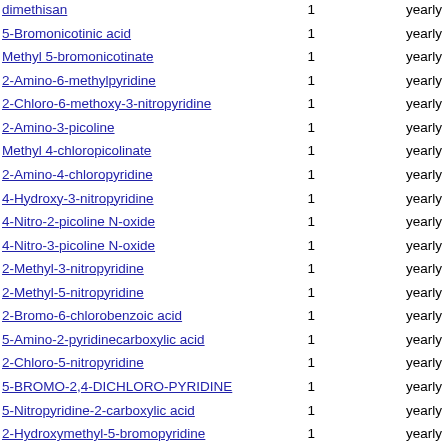| Name |  |  |
| --- | --- | --- |
| dimethisan (partial) | 1 | yearly |
| 5-Bromonicotinic acid | 1 | yearly |
| Methyl 5-bromonicotinate | 1 | yearly |
| 2-Amino-6-methylpyridine | 1 | yearly |
| 2-Chloro-6-methoxy-3-nitropyridine | 1 | yearly |
| 2-Amino-3-picoline | 1 | yearly |
| Methyl 4-chloropicolinate | 1 | yearly |
| 2-Amino-4-chloropyridine | 1 | yearly |
| 4-Hydroxy-3-nitropyridine | 1 | yearly |
| 4-Nitro-2-picoline N-oxide | 1 | yearly |
| 4-Nitro-3-picoline N-oxide | 1 | yearly |
| 2-Methyl-3-nitropyridine | 1 | yearly |
| 2-Methyl-5-nitropyridine | 1 | yearly |
| 2-Bromo-6-chlorobenzoic acid | 1 | yearly |
| 5-Amino-2-pyridinecarboxylic acid | 1 | yearly |
| 2-Chloro-5-nitropyridine | 1 | yearly |
| 5-BROMO-2,4-DICHLORO-PYRIDINE | 1 | yearly |
| 5-Nitropyridine-2-carboxylic acid | 1 | yearly |
| 2-Hydroxymethyl-5-bromopyridine | 1 | yearly |
| 2-Amino-5-chloropyridine | 1 | yearly |
| 2-Amino-4,6-dimethylpyridine | 1 | yearly |
| 3,5-dimethylpyridin-2-amine | 1 | yearly |
| 4-Chloro-3-nitropyridine | 1 | yearly |